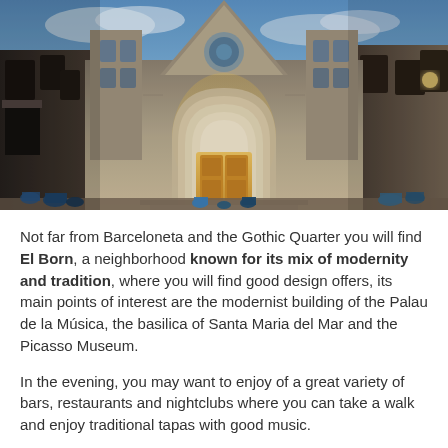[Figure (photo): Dramatic wide-angle photo of a Gothic cathedral (Barcelona Cathedral) illuminated at dusk/night, with tourists on the steps, blue sky with clouds in background, HDR-style processing.]
Not far from Barceloneta and the Gothic Quarter you will find El Born, a neighborhood known for its mix of modernity and tradition, where you will find good design offers, its main points of interest are the modernist building of the Palau de la Música, the basilica of Santa Maria del Mar and the Picasso Museum.
In the evening, you may want to enjoy of a great variety of bars, restaurants and nightclubs where you can take a walk and enjoy traditional tapas with good music.